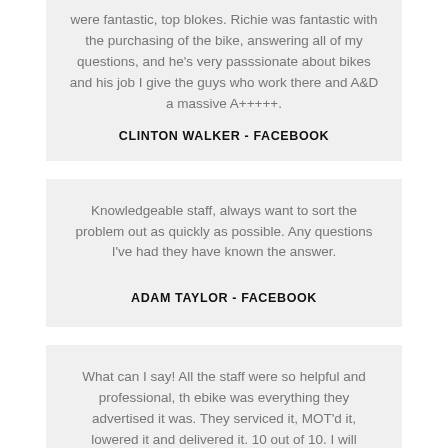were fantastic, top blokes. Richie was fantastic with the purchasing of the bike, answering all of my questions, and he's very passsionate about bikes and his job I give the guys who work there and A&D a massive A+++++.
CLINTON WALKER - FACEBOOK
Knowledgeable staff, always want to sort the problem out as quickly as possible. Any questions I've had they have known the answer.
ADAM TAYLOR - FACEBOOK
What can I say! All the staff were so helpful and professional, th ebike was everything they advertised it was. They serviced it, MOT'd it, lowered it and delivered it. 10 out of 10. I will definitely recommend them and when the time comes that we would like to exchange bikes, we will